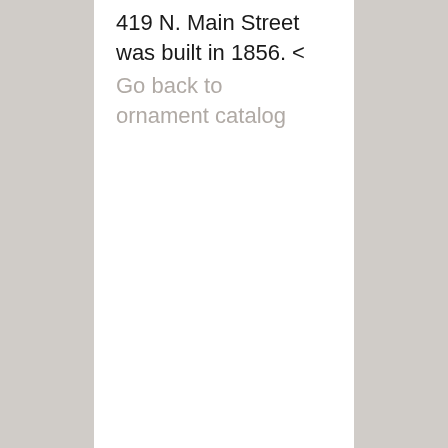419 N. Main Street was built in 1856. < Go back to ornament catalog